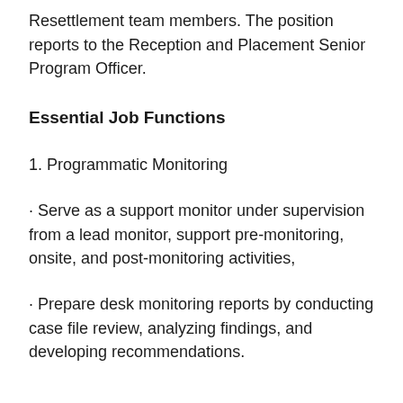Resettlement team members. The position reports to the Reception and Placement Senior Program Officer.
Essential Job Functions
1. Programmatic Monitoring
· Serve as a support monitor under supervision from a lead monitor, support pre-monitoring, onsite, and post-monitoring activities,
· Prepare desk monitoring reports by conducting case file review, analyzing findings, and developing recommendations.